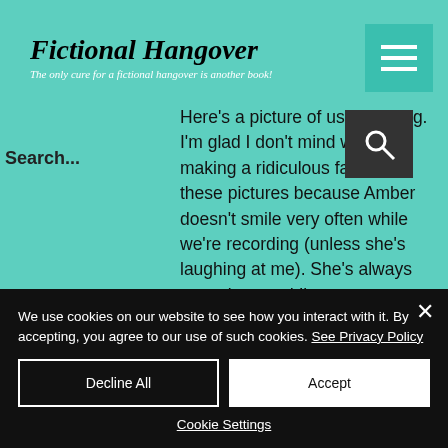Fictional Hangover — The only cure for a fictional hangover is another book!
Search...
Here's a picture of us recording. I'm glad I don't mind when I'm making a ridiculous face in these pictures because Amber doesn't smile very often while we're recording (unless she's laughing at me). She's always so serious and I'm... um... not. Maybe that's why we work so well together? I call this one The Hatchetface. If you can tell me why
We use cookies on our website to see how you interact with it. By accepting, you agree to our use of such cookies. See Privacy Policy
Decline All
Accept
Cookie Settings